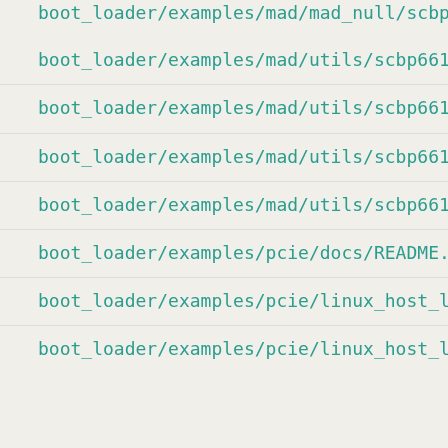boot_loader/examples/mad/mad_null/scbp6618x/.project
boot_loader/examples/mad/utils/scbp6618x/build_mad_1
boot_loader/examples/mad/utils/scbp6618x/build_mad_1
boot_loader/examples/mad/utils/scbp6618x/build_mad_m
boot_loader/examples/mad/utils/scbp6618x/build_mad_m
boot_loader/examples/pcie/docs/README.pdf
boot_loader/examples/pcie/linux_host_loader/Makefile
boot_loader/examples/pcie/linux_host_loader/pciedemo